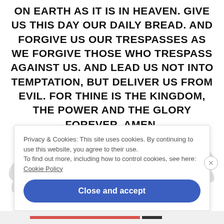ON EARTH AS IT IS IN HEAVEN. GIVE US THIS DAY OUR DAILY BREAD. AND FORGIVE US OUR TRESPASSES AS WE FORGIVE THOSE WHO TRESPASS AGAINST US. AND LEAD US NOT INTO TEMPTATION, BUT DELIVER US FROM EVIL. FOR THINE IS THE KINGDOM, THE POWER AND THE GLORY FOREVER. AMEN.
[Figure (illustration): Decorative light gray leaf/olive branch watermark in background]
Privacy & Cookies: This site uses cookies. By continuing to use this website, you agree to their use. To find out more, including how to control cookies, see here: Cookie Policy
Close and accept